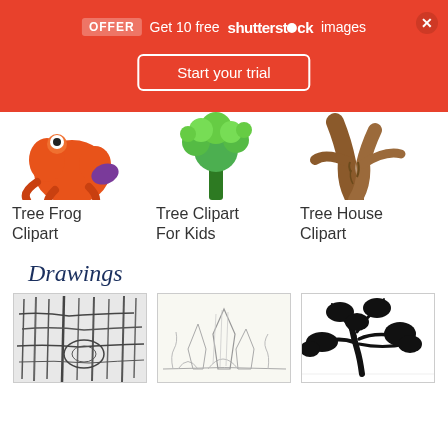[Figure (screenshot): Red promotional banner: OFFER Get 10 free shutterstock images with Start your trial button and close X button]
[Figure (illustration): Orange cartoon tree frog clipart image (partial, cropped at top)]
Tree Frog Clipart
[Figure (illustration): Green cartoon tree with leafy top clipart image]
Tree Clipart For Kids
[Figure (illustration): Brown gnarled tree trunk clipart image]
Tree House Clipart
Drawings
[Figure (illustration): Black and white pencil drawing of tree bark texture close-up]
[Figure (illustration): Light pencil sketch drawing of trees on rocky landscape]
[Figure (illustration): Black silhouette illustration of a large oak tree with sprawling branches]